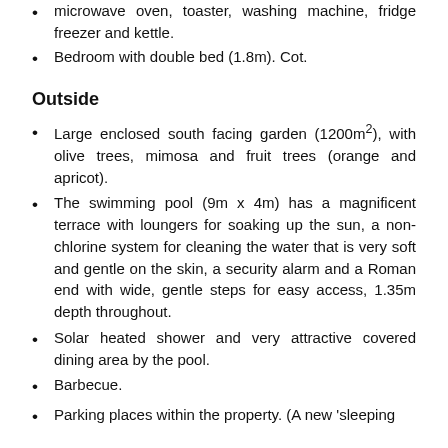microwave oven, toaster, washing machine, fridge freezer and kettle.
Bedroom with double bed (1.8m). Cot.
Outside
Large enclosed south facing garden (1200m²), with olive trees, mimosa and fruit trees (orange and apricot).
The swimming pool (9m x 4m) has a magnificent terrace with loungers for soaking up the sun, a non-chlorine system for cleaning the water that is very soft and gentle on the skin, a security alarm and a Roman end with wide, gentle steps for easy access, 1.35m depth throughout.
Solar heated shower and very attractive covered dining area by the pool.
Barbecue.
Parking places within the property. (A new 'sleeping